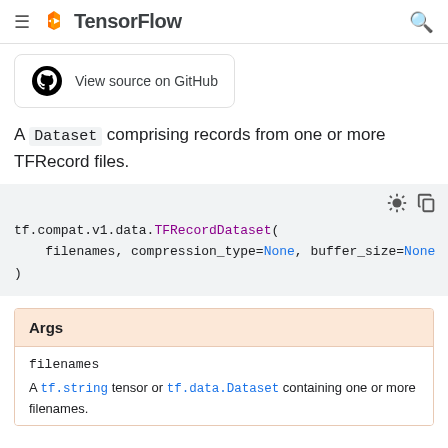TensorFlow
[Figure (other): View source on GitHub button with GitHub logo]
A Dataset comprising records from one or more TFRecord files.
| Args |
| --- |
| filenames | A tf.string tensor or tf.data.Dataset containing one or more filenames. |